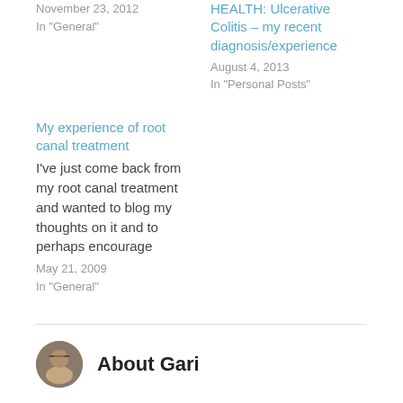November 23, 2012
In "General"
HEALTH: Ulcerative Colitis – my recent diagnosis/experience
August 4, 2013
In "Personal Posts"
My experience of root canal treatment
I've just come back from my root canal treatment and wanted to blog my thoughts on it and to perhaps encourage
May 21, 2009
In "General"
About Gari
Northern lad; living out in the Peak District and